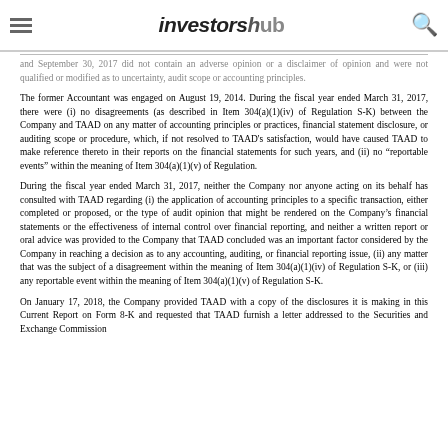investorshub
and September 30, 2017 did not contain an adverse opinion or a disclaimer of opinion and were not qualified or modified as to uncertainty, audit scope or accounting principles.
The former Accountant was engaged on August 19, 2014. During the fiscal year ended March 31, 2017, there were (i) no disagreements (as described in Item 304(a)(1)(iv) of Regulation S-K) between the Company and TAAD on any matter of accounting principles or practices, financial statement disclosure, or auditing scope or procedure, which, if not resolved to TAAD's satisfaction, would have caused TAAD to make reference thereto in their reports on the financial statements for such years, and (ii) no "reportable events" within the meaning of Item 304(a)(1)(v) of Regulation.
During the fiscal year ended March 31, 2017, neither the Company nor anyone acting on its behalf has consulted with TAAD regarding (i) the application of accounting principles to a specific transaction, either completed or proposed, or the type of audit opinion that might be rendered on the Company's financial statements or the effectiveness of internal control over financial reporting, and neither a written report or oral advice was provided to the Company that TAAD concluded was an important factor considered by the Company in reaching a decision as to any accounting, auditing, or financial reporting issue, (ii) any matter that was the subject of a disagreement within the meaning of Item 304(a)(1)(iv) of Regulation S-K, or (iii) any reportable event within the meaning of Item 304(a)(1)(v) of Regulation S-K.
On January 17, 2018, the Company provided TAAD with a copy of the disclosures it is making in this Current Report on Form 8-K and requested that TAAD furnish a letter addressed to the Securities and Exchange Commission...